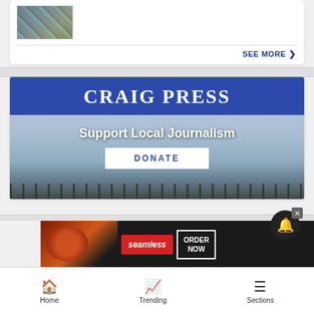[Figure (screenshot): Thumbnail image of a sports/hockey-related photo in a white card section]
SEE MORE >
[Figure (illustration): Craig Press banner with dark blue top section showing 'CRAIG PRESS' logo and sky background showing 'Support Local Journalism' text and DONATE button]
Support Local Journalism
DONATE
[Figure (screenshot): Seamless food delivery advertisement banner showing pizza image, Seamless logo, and ORDER NOW button]
[Figure (screenshot): Dark circular bell/notification button with X close button]
Home   Trending   Sections